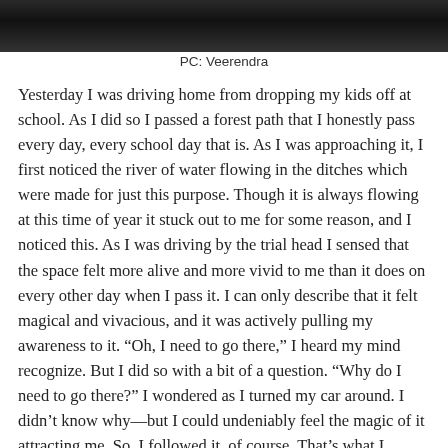[Figure (photo): Dark photograph strip at top of page, appears to show a dark outdoor or sky scene]
PC: Veerendra
Yesterday I was driving home from dropping my kids off at school.  As I did so I passed a forest path that I honestly pass every day, every school day that is.  As I was approaching it, I first noticed the river of water flowing in the ditches which were made for just this purpose.  Though it is always flowing at this time of year it stuck out to me for some reason, and I noticed this.  As I was driving by the trial head I sensed that the space felt more alive and more vivid to me than it does on every other day when I pass it.  I can only describe that it felt magical and vivacious, and it was actively pulling my awareness to it.  “Oh, I need to go there,” I heard my mind recognize.  But I did so with a bit of a question.  “Why do I need to go there?” I wondered as I turned my car around.  I didn’t know why—but I could undeniably feel the magic of it attracting me.  So, I followed it, of course.  That’s what I always do when my intuition guides me somewhere—I follow it—even when I don’t know why.